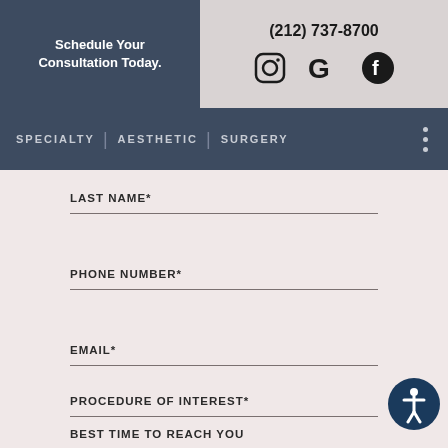[Figure (screenshot): Website header with Schedule Your Consultation Today button, phone number (212) 737-8700, and Instagram, Google, Facebook social media icons]
SPECIALTY | AESTHETIC | SURGERY
LAST NAME*
PHONE NUMBER*
EMAIL*
PROCEDURE OF INTEREST*
BEST TIME TO REACH YOU